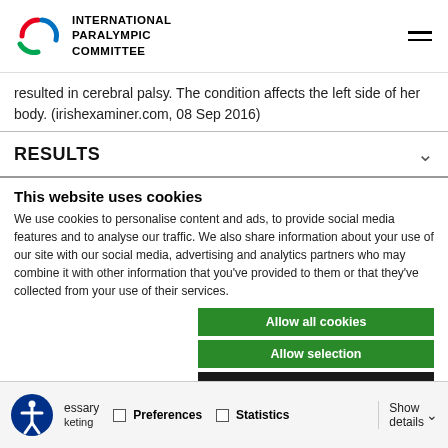INTERNATIONAL PARALYMPIC COMMITTEE
resulted in cerebral palsy. The condition affects the left side of her body. (irishexaminer.com, 08 Sep 2016)
RESULTS
This website uses cookies
We use cookies to personalise content and ads, to provide social media features and to analyse our traffic. We also share information about your use of our site with our social media, advertising and analytics partners who may combine it with other information that you've provided to them or that they've collected from your use of their services.
Allow all cookies
Allow selection
Use necessary cookies
Necessary  Preferences  Statistics  Show details